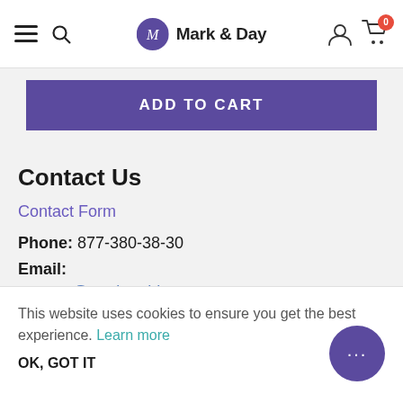Mark & Day - Navigation header with hamburger menu, search, logo, user icon, and cart (0)
ADD TO CART
Contact Us
Contact Form
Phone: 877-380-38-30
Email:
support@markandday.com
Follow Us
This website uses cookies to ensure you get the best experience. Learn more
OK, GOT IT